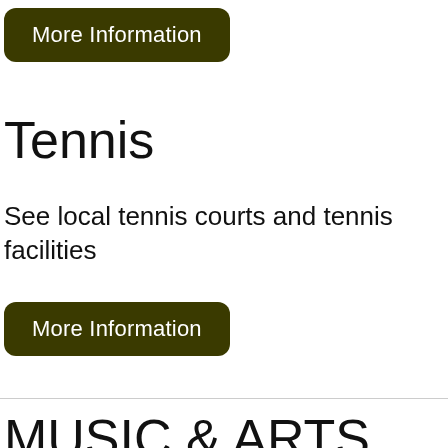More Information
Tennis
See local tennis courts and tennis facilities
More Information
MUSIC & ARTS